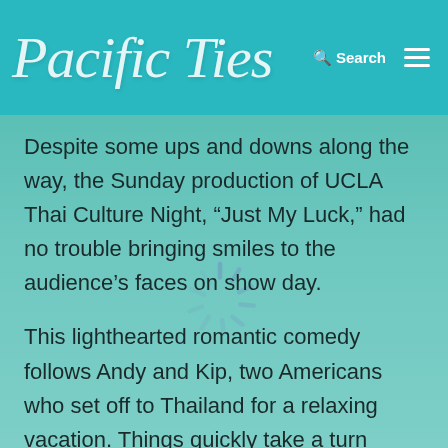Pacific Ties
Despite some ups and downs along the way, the Sunday production of UCLA Thai Culture Night, “Just My Luck,” had no trouble bringing smiles to the audience’s faces on show day.
This lighthearted romantic comedy follows Andy and Kip, two Americans who set off to Thailand for a relaxing vacation. Things quickly take a turn when they realize Kip had accidentally booked tickets for two separate tours – thus, Andy is roped in to the Thai Historical and Cultural Extravaganza with the overly enthusiastic and slightly possessive tour group leader, P’Nice.